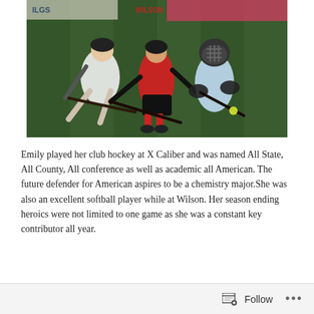[Figure (photo): Field hockey action photo showing three players competing for the ball — one in a red and black uniform, one in a white uniform, and one in a light blue uniform with a helmet, all reaching for the ball on a green turf field.]
Emily played her club hockey at X Caliber and was named All State, All County, All conference as well as academic all American. The future defender for American aspires to be a chemistry major.She was also an excellent softball player while at Wilson. Her season ending heroics were not limited to one game as she was a constant key contributor all year.
Follow ···